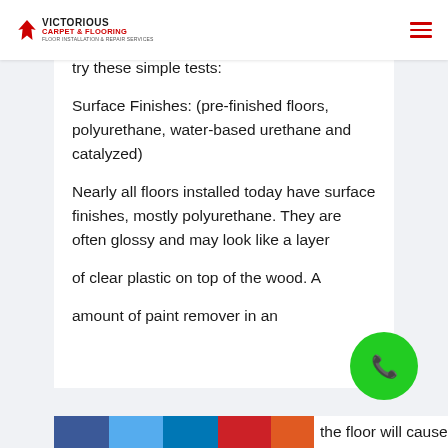Victorious Carpet & Flooring
If you don't know what kind of finish your floor has, ask your contractor or Realtor, or try these simple tests:
Surface Finishes: (pre-finished floors, polyurethane, water-based urethane and catalyzed)
Nearly all floors installed today have surface finishes, mostly polyurethane. They are often glossy and may look like a layer of clear plastic on top of the wood. A small amount of paint remover in an inconspicuous area on the floor will cause